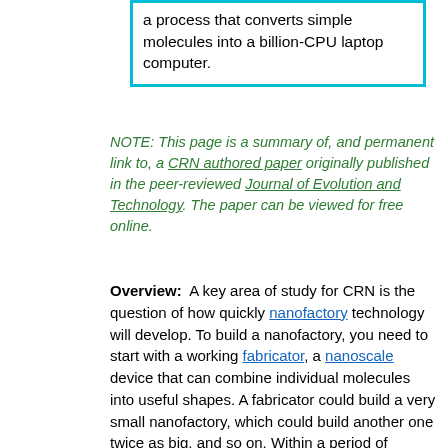a process that converts simple molecules into a billion-CPU laptop computer.
NOTE: This page is a summary of, and permanent link to, a CRN authored paper originally published in the peer-reviewed Journal of Evolution and Technology. The paper can be viewed for free online.
Overview: A key area of study for CRN is the question of how quickly nanofactory technology will develop. To build a nanofactory, you need to start with a working fabricator, a nanoscale device that can combine individual molecules into useful shapes. A fabricator could build a very small nanofactory, which could build another one twice as big, and so on. Within a period of weeks, you have a personal desktop model. Products made by a nanofactory will be assembled from nanoblocks, which will be fabricated within the nanofactory. The product that comes out of the nanofactory will be a mostly-solid block or brick that will unfold like a pop-up book or inflate like an air mattress. Computer aided design (CAD) programs will make it possible to create state-of-the-art products simply by specifying a pattern of predesigned nanoblocks. The question of when